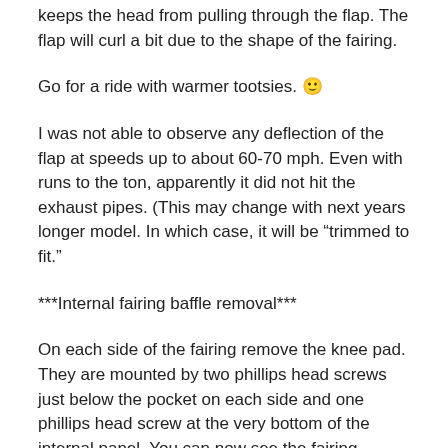keeps the head from pulling through the flap. The flap will curl a bit due to the shape of the fairing.
Go for a ride with warmer tootsies. 🙂
I was not able to observe any deflection of the flap at speeds up to about 60-70 mph. Even with runs to the ton, apparently it did not hit the exhaust pipes. (This may change with next years longer model. In which case, it will be “trimmed to fit.”
***Internal fairing baffle removal***
On each side of the fairing remove the knee pad. They are mounted by two phillips head screws just below the pocket on each side and one phillips head screw at the very bottom of the internal panel. You can now see the fairing innards.